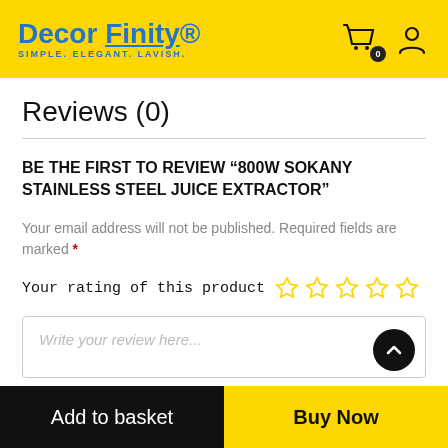Decor Finity - SIMPLE. ELEGANT. LAVISH.
Reviews (0)
BE THE FIRST TO REVIEW “800W SOKANY STAINLESS STEEL JUICE EXTRACTOR”
Your email address will not be published. Required fields are marked *
Your rating of this product
Add to basket | Buy Now